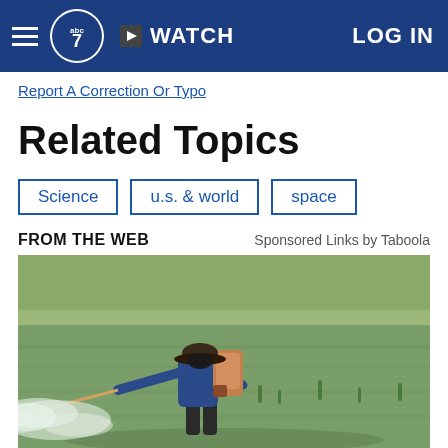ABC7 News — WATCH — LOG IN
Report A Correction Or Typo
Related Topics
Science
u.s. & world
space
FROM THE WEB
Sponsored Links by Taboola
[Figure (photo): A farmer wearing a blue long-sleeve shirt, wide-brim hat, and rubber boots, carrying a motorized pesticide sprayer on their back, walking through a flooded green rice paddy field while spraying pesticide.]